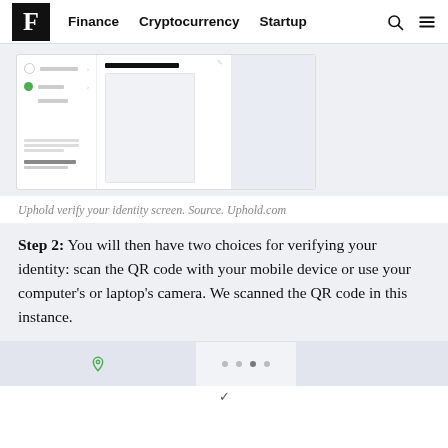F  Finance  Cryptocurrency  Startup
[Figure (screenshot): Uphold verify your identity screen showing a sidebar menu with Privacy and Help options, and a main panel with a dark header bar and light content area.]
Uphold verify your identity screen. Source. Uphold.com
Step 2: You will then have two choices for verifying your identity: scan the QR code with your mobile device or use your computer’s or laptop’s camera. We scanned the QR code in this instance.
[Figure (screenshot): Bottom partial screenshot strip showing a location icon on a light gray background panel, and additional UI panels.]